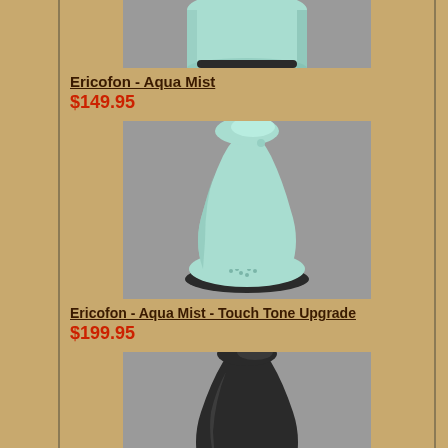[Figure (photo): Top portion of an Ericofon telephone in Aqua Mist color, showing the top/earpiece end against a gray background]
Ericofon - Aqua Mist
$149.95
[Figure (photo): Full view of an Ericofon telephone in Aqua Mist (light mint green) color, showing the distinctive single-unit upright design with dial on the base, against a gray background]
Ericofon - Aqua Mist - Touch Tone Upgrade
$199.95
[Figure (photo): Top portion of a black Ericofon telephone, showing the earpiece/top end against a gray background]